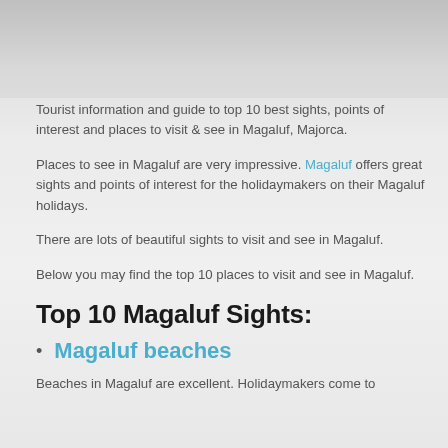[Figure (photo): Decorative header image showing a faded scenic background (beach/landscape), grayed out]
Tourist information and guide to top 10 best sights, points of interest and places to visit & see in Magaluf, Majorca.
Places to see in Magaluf are very impressive. Magaluf offers great sights and points of interest for the holidaymakers on their Magaluf holidays.
There are lots of beautiful sights to visit and see in Magaluf.
Below you may find the top 10 places to visit and see in Magaluf.
Top 10 Magaluf Sights:
Magaluf beaches
Beaches in Magaluf are excellent. Holidaymakers come to...